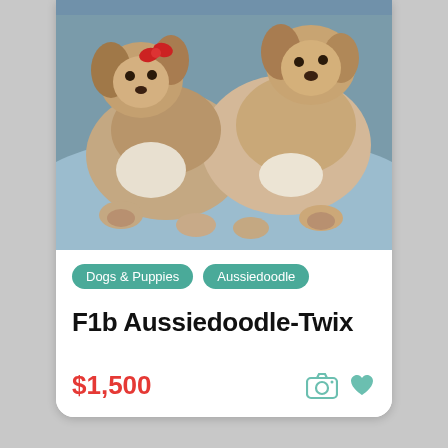[Figure (photo): Two fluffy Aussiedoodle puppies with curly brown, white and tan fur lying together; one has a red bow/accessory near its ear]
Dogs & Puppies
Aussiedoodle
F1b Aussiedoodle-Twix
$1,500
[Figure (photo): Dark brown/chocolate wavy-haired puppy wearing a blue collar, viewed from above, resting in a cage or pen]